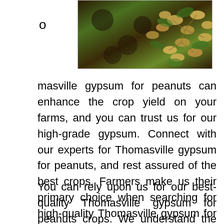[Figure (photo): Close-up photograph of peanuts growing on vines with leaves, showing the crop in a field setting]
o
masville gypsum for peanuts can enhance the crop yield on your farms, and you can trust us for our high-grade gypsum. Connect with our experts for Thomasville gypsum for peanuts, and rest assured of the best crops. Farmers make us their primary choice when searching for high-quality Thomasville gypsum for peanuts crops.
You can rely upon us for our best-quality Thomasville gypsum for peanuts crops. We understand the use of high-quality gypsum for your crops and never compromise on the